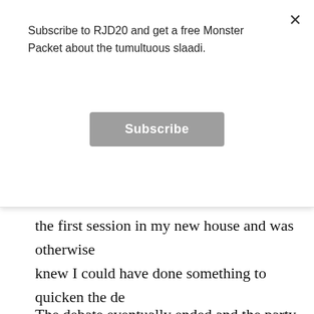Subscribe to RJD20 and get a free Monster Packet about the tumultuous slaadi.
Subscribe
the first session in my new house and was otherwise knew I could have done something to quicken the de hostility between the PCs and players.
The debate eventually ended and the party moved on NPC, a kobold named Strunt. They started crawling tunnels, a stellar and safe shortcut to Tairox Landing concluded in a junction of these tunnels and the part
Sadly, the remains of the combat and the debate took